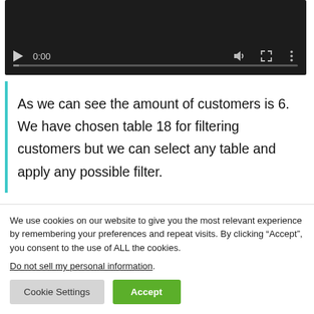[Figure (screenshot): Video player with dark background showing play button, time 0:00, volume icon, fullscreen icon, and more options icon, with a progress bar at the bottom]
As we can see the amount of customers is 6. We have chosen table 18 for filtering customers but we can select any table and apply any possible filter.
We use cookies on our website to give you the most relevant experience by remembering your preferences and repeat visits. By clicking “Accept”, you consent to the use of ALL the cookies.
Do not sell my personal information.
Cookie Settings  Accept